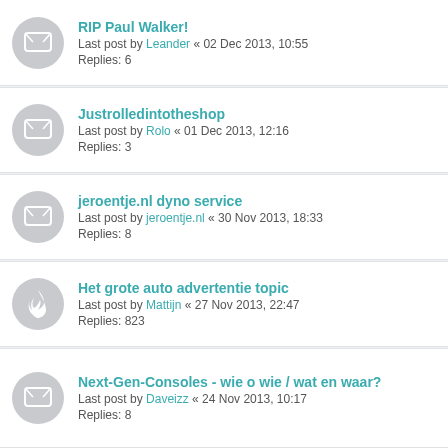RIP Paul Walker! — Last post by Leander « 02 Dec 2013, 10:55 — Replies: 6
Justrolledintotheshop — Last post by Rolo « 01 Dec 2013, 12:16 — Replies: 3
jeroentje.nl dyno service — Last post by jeroentje.nl « 30 Nov 2013, 18:33 — Replies: 8
Het grote auto advertentie topic — Last post by Mattijn « 27 Nov 2013, 22:47 — Replies: 823
Next-Gen-Consoles - wie o wie / wat en waar? — Last post by Daveizz « 24 Nov 2013, 10:17 — Replies: 8